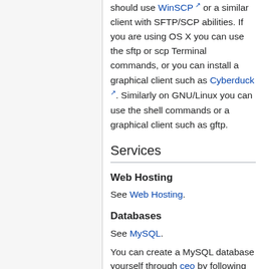should use WinSCP or a similar client with SFTP/SCP abilities. If you are using OS X you can use the sftp or scp Terminal commands, or you can install a graphical client such as Cyberduck. Similarly on GNU/Linux you can use the shell commands or a graphical client such as gftp.
Services
Web Hosting
See Web Hosting.
Databases
See MySQL.
You can create a MySQL database yourself through ceo by following these instructions.